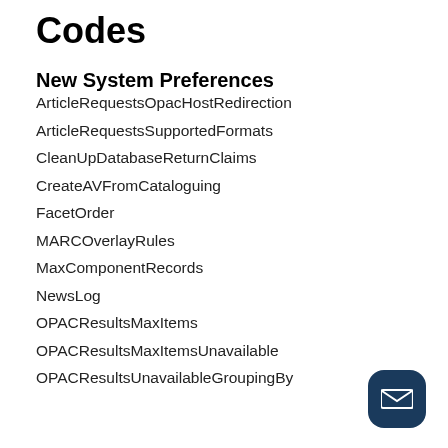Codes
New System Preferences
ArticleRequestsOpacHostRedirection
ArticleRequestsSupportedFormats
CleanUpDatabaseReturnClaims
CreateAVFromCataloguing
FacetOrder
MARCOverlayRules
MaxComponentRecords
NewsLog
OPACResultsMaxItems
OPACResultsMaxItemsUnavailable
OPACResultsUnavailableGroupingBy